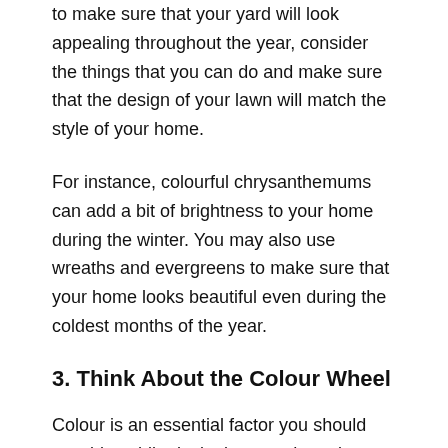to make sure that your yard will look appealing throughout the year, consider the things that you can do and make sure that the design of your lawn will match the style of your home.
For instance, colourful chrysanthemums can add a bit of brightness to your home during the winter. You may also use wreaths and evergreens to make sure that your home looks beautiful even during the coldest months of the year.
3. Think About the Colour Wheel
Colour is an essential factor you should consider while designing your home's landscape. You can elevate the look of your yard by adding plants that have varied colour schemes. You can also use different shades of a